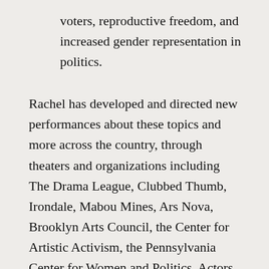voters, reproductive freedom, and increased gender representation in politics.
Rachel has developed and directed new performances about these topics and more across the country, through theaters and organizations including The Drama League, Clubbed Thumb, Irondale, Mabou Mines, Ars Nova, Brooklyn Arts Council, the Center for Artistic Activism, the Pennsylvania Center for Women and Politics, Actors Theatre of Louisville, LaGuardia Performing Arts Center, The Wild Project, The Brick, The Flea, IRT, Dixon Place,